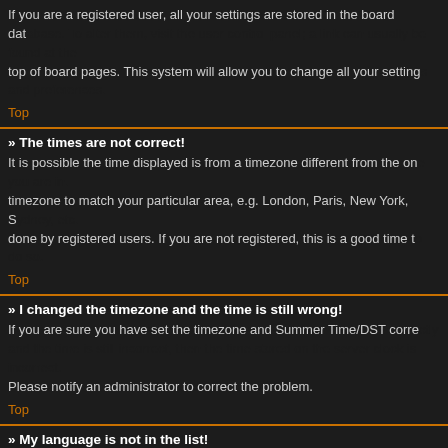If you are a registered user, all your settings are stored in the board database. To alter them, visit the user control panel; a link can usually be found at the top of board pages. This system will allow you to change all your settings and preferences.
Top
» The times are not correct!
It is possible the time displayed is from a timezone different from the one you are in. If this is the case, visit your User Control Panel and change your timezone to match your particular area, e.g. London, Paris, New York, Sydney, etc. Please note that changing the timezone, like most settings, can only be done by registered users. If you are not registered, this is a good time to do so.
Top
» I changed the timezone and the time is still wrong!
If you are sure you have set the timezone and Summer Time/DST correctly and the time is still incorrect, then the time stored on the server clock is incorrect. Please notify an administrator to correct the problem.
Top
» My language is not in the list!
Either the administrator has not installed your language or nobody has translated this board into your language. Try asking the board administrator if they can install the language pack you need. If the language pack does not exist, feel free to create a new translation. More information can be found at the phpBB website (see link at the bottom of board pages).
Top
» How do I show an image along with my username?
There are two images which may appear along with a username when viewing posts. One of them may be an image associated with your rank, generally in the form of stars, blocks or dots, indicating how many posts you have made or your status on the board. Another, usually larger, image is known as an avatar and is generally unique or personal to each user. It is up to the board administrator to enable avatars and to choose the way in which avatars can be made available. If you are unable to use avatars, contact a board administrator.